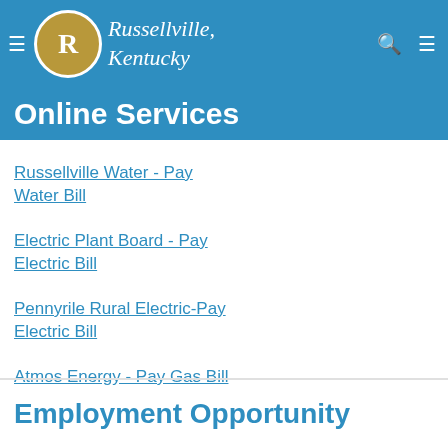Russellville, Kentucky
Online Services
Russellville Water - Pay Water Bill
Electric Plant Board - Pay Electric Bill
Pennyrile Rural Electric-Pay Electric Bill
Atmos Energy - Pay Gas Bill
Employment Opportunity